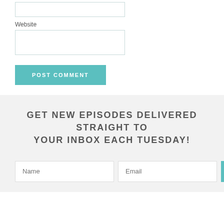[Figure (screenshot): Small input text box at the top of the page, partially visible]
Website
[Figure (screenshot): Large input text box for Website field]
POST COMMENT
GET NEW EPISODES DELIVERED STRAIGHT TO YOUR INBOX EACH TUESDAY!
[Figure (screenshot): Subscribe form with Name input, Email input, and SUBSCRIBE button]